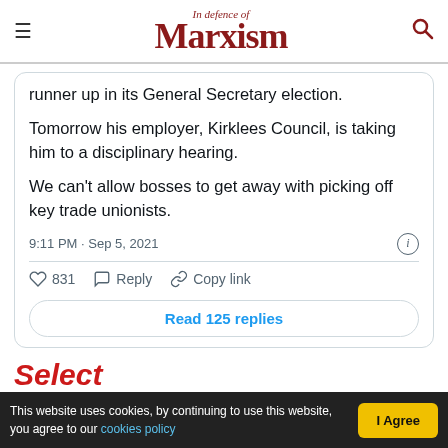In Defence of Marxism
runner up in its General Secretary election.
Tomorrow his employer, Kirklees Council, is taking him to a disciplinary hearing.
We can't allow bosses to get away with picking off key trade unionists.
9:11 PM · Sep 5, 2021
831  Reply  Copy link
Read 125 replies
Select
This website uses cookies, by continuing to use this website, you agree to our cookies policy  I Agree